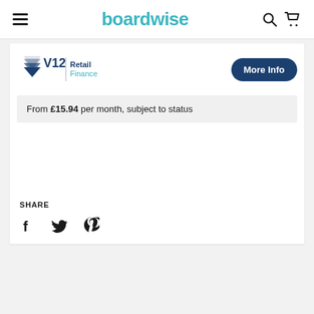boardwise
[Figure (logo): V12 Retail Finance logo with triangle graphic and text]
From £15.94 per month, subject to status
SHARE
[Figure (infographic): Social share icons: Facebook, Twitter, Pinterest]